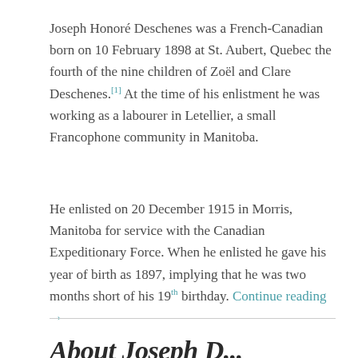Joseph Honoré Deschenes was a French-Canadian born on 10 February 1898 at St. Aubert, Quebec the fourth of the nine children of Zoël and Clare Deschenes.[1] At the time of his enlistment he was working as a labourer in Letellier, a small Francophone community in Manitoba.
He enlisted on 20 December 1915 in Morris, Manitoba for service with the Canadian Expeditionary Force. When he enlisted he gave his year of birth as 1897, implying that he was two months short of his 19th birthday. Continue reading →
About Joseph Deschenes...